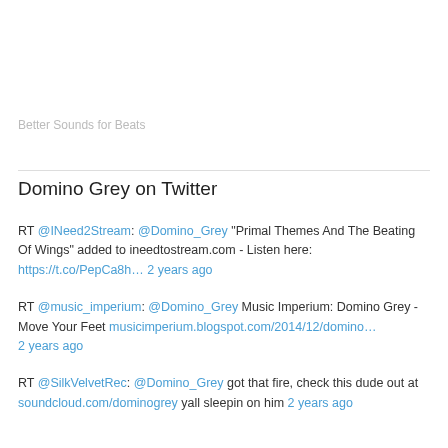Better Sounds for Beats
Domino Grey on Twitter
RT @INeed2Stream: @Domino_Grey "Primal Themes And The Beating Of Wings" added to ineedtostream.com - Listen here: https://t.co/PepCa8h… 2 years ago
RT @music_imperium: @Domino_Grey Music Imperium: Domino Grey - Move Your Feet musicimperium.blogspot.com/2014/12/domino… 2 years ago
RT @SilkVelvetRec: @Domino_Grey got that fire, check this dude out at soundcloud.com/dominogrey yall sleepin on him 2 years ago